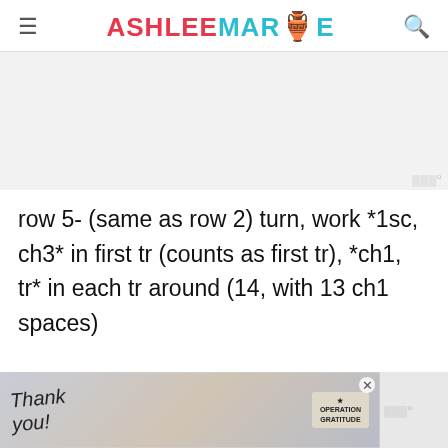ASHLEE MARIE
[Figure (other): Advertisement placeholder area (gray background, mediavine watermark)]
row 5- (same as row 2) turn, work *1sc, ch3* in first tr (counts as first tr), *ch1, tr* in each tr around (14, with 13 ch1 spaces)
[Figure (other): Advertisement banner at bottom: Thank you Operation Gratitude with firefighters photo]